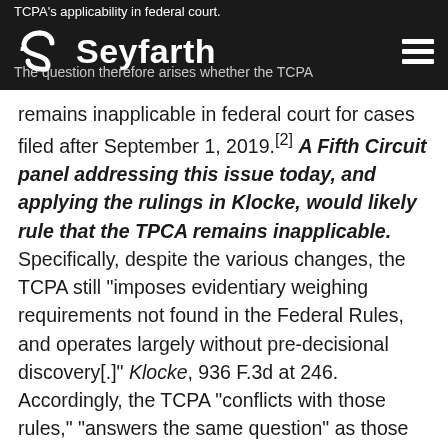TCPA's applicability in federal court.
[Figure (logo): Seyfarth law firm logo with stylized S icon and wordmark 'Seyfarth' in white on black background]
The question therefore arises whether the TCPA remains inapplicable in federal court for cases filed after September 1, 2019.[2] A Fifth Circuit panel addressing this issue today, and applying the rulings in Klocke, would likely rule that the TPCA remains inapplicable. Specifically, despite the various changes, the TCPA still “imposes evidentiary weighing requirements not found in the Federal Rules, and operates largely without pre-decisional discovery[.]” Klocke, 936 F.3d at 246. Accordingly, the TCPA “conflicts with those rules,” “answers the same question” as those rules, and therefore “cannot apply in federal court.” Id. at 244, 245, 246.